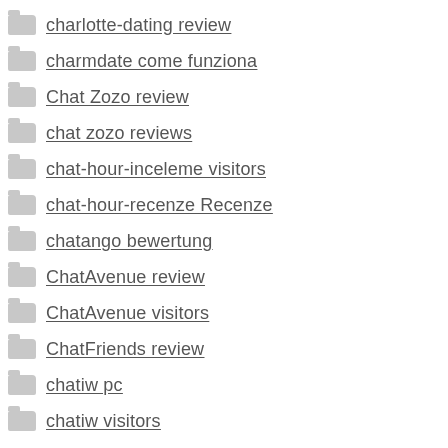charlotte-dating review
charmdate come funziona
Chat Zozo review
chat zozo reviews
chat-hour-inceleme visitors
chat-hour-recenze Recenze
chatango bewertung
ChatAvenue review
ChatAvenue visitors
ChatFriends review
chatiw pc
chatiw visitors